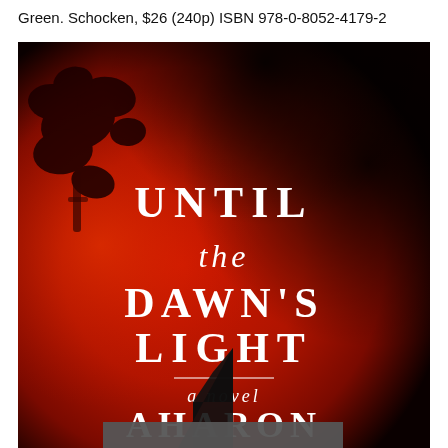Green. Schocken, $26 (240p) ISBN 978-0-8052-4179-2
[Figure (photo): Book cover of 'Until the Dawn's Light, a novel' by Aharon Appelfeld. Deep red and black background with a silhouette of a dark tree/birds on the left and a church steeple at the bottom. White serif text displays the title and author name.]